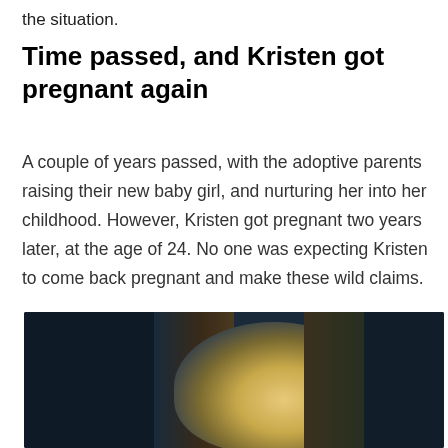the situation.
Time passed, and Kristen got pregnant again
A couple of years passed, with the adoptive parents raising their new baby girl, and nurturing her into her childhood. However, Kristen got pregnant two years later, at the age of 24. No one was expecting Kristen to come back pregnant and make these wild claims.
[Figure (photo): Close-up photo of a woman with dark hair against a dark background, face lit with warm golden light]